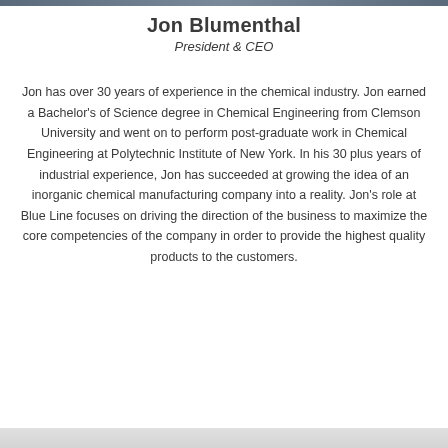[Figure (photo): Photo strip at the top of the page showing a partial portrait image]
Jon Blumenthal
President & CEO
Jon has over 30 years of experience in the chemical industry. Jon earned a Bachelor's of Science degree in Chemical Engineering from Clemson University and went on to perform post-graduate work in Chemical Engineering at Polytechnic Institute of New York. In his 30 plus years of industrial experience, Jon has succeeded at growing the idea of an inorganic chemical manufacturing company into a reality. Jon's role at Blue Line focuses on driving the direction of the business to maximize the core competencies of the company in order to provide the highest quality products to the customers.